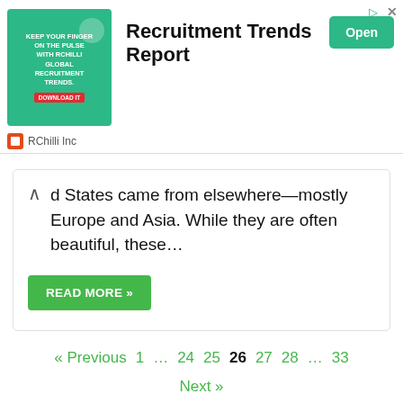[Figure (screenshot): Advertisement banner for RChilli Inc showing 'Recruitment Trends Report' with an Open button and green banner image]
d States came from elsewhere—mostly Europe and Asia. While they are often beautiful, these…
READ MORE »
« Previous  1  …  24  25  26  27  28  …  33
Next »
Search for...